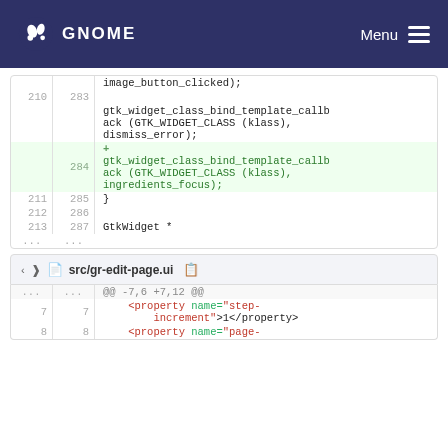GNOME  Menu
| old | new | code |
| --- | --- | --- |
|  |  | image_button_clicked); |
| 210 | 283 |  |
|  |  | gtk_widget_class_bind_template_callback (GTK_WIDGET_CLASS (klass), dismiss_error); |
|  | 284 | + gtk_widget_class_bind_template_callback (GTK_WIDGET_CLASS (klass), ingredients_focus); |
| 211 | 285 | } |
| 212 | 286 |  |
| 213 | 287 | GtkWidget * |
| ... | ... |  |
src/gr-edit-page.ui
| old | new | code |
| --- | --- | --- |
| ... | ... | @@ -7,6 +7,12 @@ |
| 7 | 7 |     <property name="step-increment">1</property> |
| 8 | 8 |     <property name="page- |